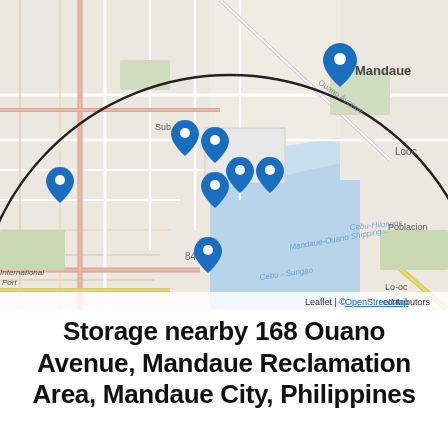[Figure (map): OpenStreetMap-based Leaflet map showing the area around 168 Ouano Avenue, Mandaue City, Philippines. A large circle is drawn on the map outlining the search radius. Multiple blue location pin markers are clustered in the Subangdaku/Mandaue area west of the Mactan Channel. Map labels include Mandaue, Looc, Poblacion, Lo-oc, International Port, and water body text. Attribution reads: Leaflet | © OpenStreetMap contributors.]
Storage nearby 168 Ouano Avenue, Mandaue Reclamation Area, Mandaue City, Philippines